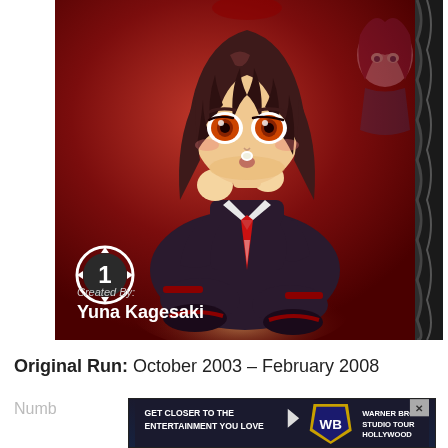[Figure (illustration): Manga volume 1 cover art showing an anime girl with brown hair and orange eyes in a dark school uniform with red tie, hugging her knees, sitting against a red background. A ghost-like second character appears faintly in the upper right. A volume 1 badge is in the lower left. Text reads 'Created By: Yuna Kagesaki'. The right edge has a dark textured border.]
Original Run: October 2003 – February 2008
Numb
[Figure (infographic): Advertisement banner: 'GET CLOSER TO THE ENTERTAINMENT YOU LOVE' with Warner Bros. Studio Tour Hollywood logo]